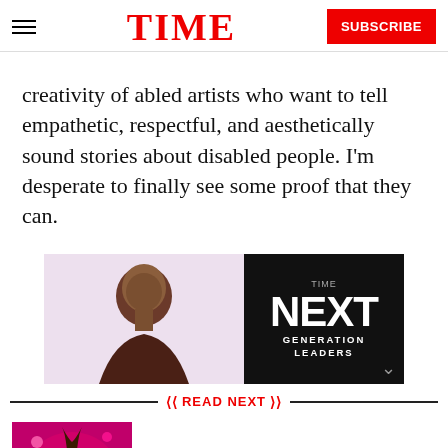TIME | SUBSCRIBE
creativity of abled artists who want to tell empathetic, respectful, and aesthetically sound stories about disabled people. I'm desperate to finally see some proof that they can.
[Figure (photo): Advertisement banner: photo of a young Black man on pink/lavender background on the left; TIME 'NEXT GENERATION LEADERS' text on black background on the right]
READ NEXT
[Figure (illustration): Thumbnail image of anime-style character with pink/magenta background for 'Demon Slayer' article]
Everything to Know About 'Demon Slayer'